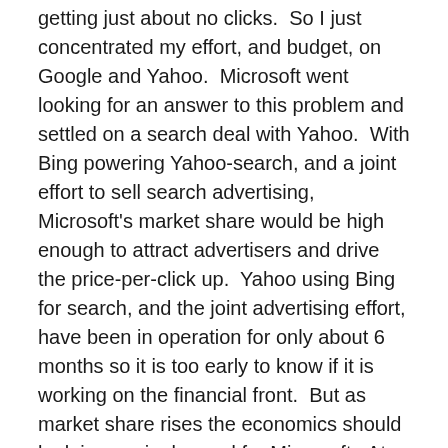getting just about no clicks.  So I just concentrated my effort, and budget, on Google and Yahoo.  Microsoft went looking for an answer to this problem and settled on a search deal with Yahoo.  With Bing powering Yahoo-search, and a joint effort to sell search advertising, Microsoft's market share would be high enough to attract advertisers and drive the price-per-click up.  Yahoo using Bing for search, and the joint advertising effort, have been in operation for only about 6 months so it is too early to know if it is working on the financial front.  But as market share rises the economics should look increasingly good for Microsoft.  At a minimum they should do well enough to continue the fight, and that's where things get interesting given Google's latest financial results.
The big issue in Google's latest financial results is that they are experiencing margin pressure because of a spike